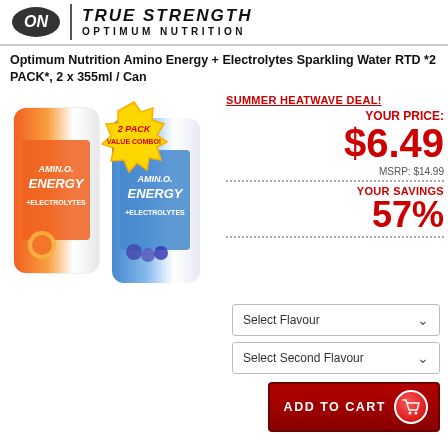TRUE STRENGTH OPTIMUM NUTRITION
Optimum Nutrition Amino Energy + Electrolytes Sparkling Water RTD *2 PACK*, 2 x 355ml / Can
[Figure (photo): Two Amino Energy + Electrolytes cans (orange/peach and blue/blueberry lemon) with a yellow starburst badge reading '2 PACK VALUE COMBO!']
SUMMER HEATWAVE DEAL!
YOUR PRICE: $6.49
MSRP: $14.99
YOUR SAVINGS 57%
Select Flavour
Select Second Flavour
ADD TO CART